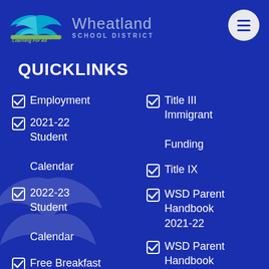[Figure (logo): Wheatland School District logo with bird/eagle graphic and tagline 'Learning For All']
QUICKLINKS
Employment
2021-22 Student Calendar
2022-23 Student Calendar
Free Breakfast Letter
Title III Immigrant Funding
Title IX
WSD Parent Handbook 2021-22
WSD Parent Handbook